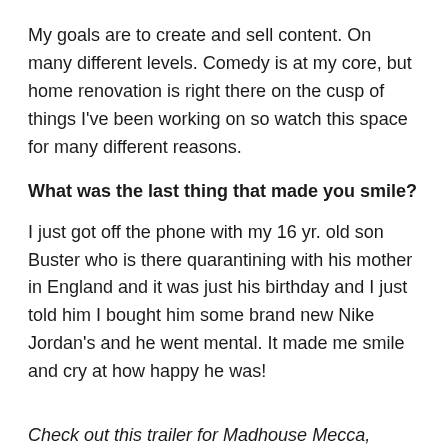My goals are to create and sell content. On many different levels. Comedy is at my core, but home renovation is right there on the cusp of things I've been working on so watch this space for many different reasons.
What was the last thing that made you smile?
I just got off the phone with my 16 yr. old son Buster who is there quarantining with his mother in England and it was just his birthday and I just told him I bought him some brand new Nike Jordan's and he went mental. It made me smile and cry at how happy he was!
Check out this trailer for Madhouse Mecca, available now on Amazon.